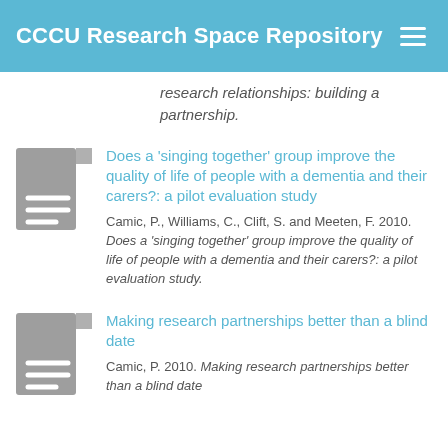CCCU Research Space Repository
research relationships: building a partnership.
[Figure (illustration): Grey document icon with lines]
Does a 'singing together' group improve the quality of life of people with a dementia and their carers?: a pilot evaluation study
Camic, P., Williams, C., Clift, S. and Meeten, F. 2010. Does a 'singing together' group improve the quality of life of people with a dementia and their carers?: a pilot evaluation study.
[Figure (illustration): Grey document icon with lines]
Making research partnerships better than a blind date
Camic, P. 2010. Making research partnerships better than a blind date